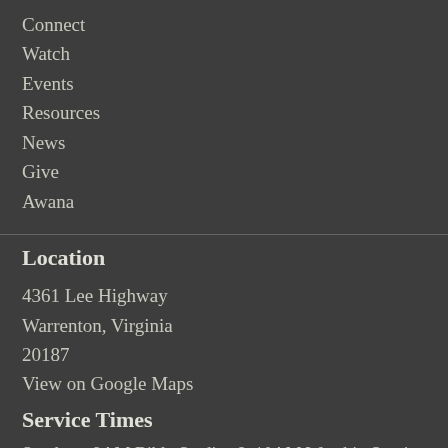Connect
Watch
Events
Resources
News
Give
Awana
Location
4361 Lee Highway
Warrenton, Virginia
20187
View on Google Maps
Service Times
Sundays: 9AM Bible Studies & 10AM Worship Service
Wednesdays: 7PM...